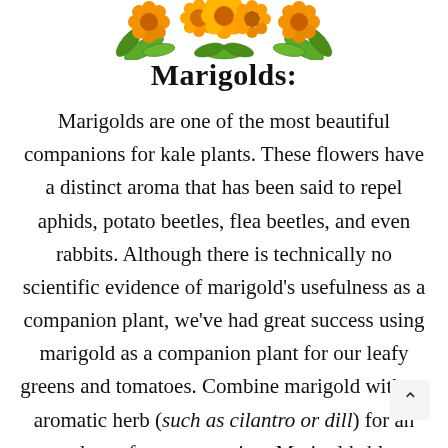[Figure (illustration): Decorative marigold flowers illustration at the top center of the page, orange and yellow flowers with green leaves]
Marigolds:
Marigolds are one of the most beautiful companions for kale plants. These flowers have a distinct aroma that has been said to repel aphids, potato beetles, flea beetles, and even rabbits. Although there is technically no scientific evidence of marigold's usefulness as a companion plant, we've had great success using marigold as a companion plant for our leafy greens and tomatoes. Combine marigold with an aromatic herb (such as cilantro or dill) for an extra dose of pest protection. Marigolds bloom 55-100 days